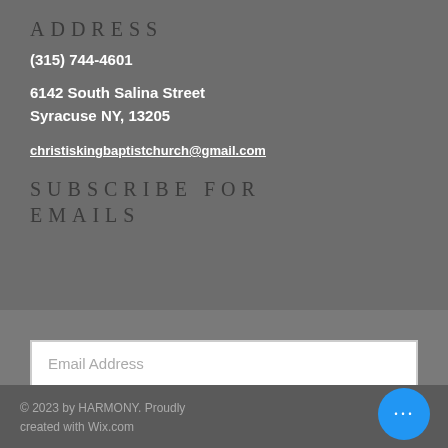ADDRESS
(315) 744-4601
6142 South Salina Street
Syracuse NY, 13205
christiskingbaptistchurch@gmail.com
SUBSCRIBE FOR EMAILS
Email Address
Subscribe Now
© 2023 by HARMONY. Proudly created with Wix.com